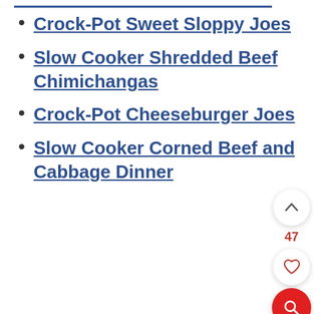Crock-Pot Sweet Sloppy Joes
Slow Cooker Shredded Beef Chimichangas
Crock-Pot Cheeseburger Joes
Slow Cooker Corned Beef and Cabbage Dinner
[Figure (other): UI floating action buttons: up-arrow button, count '47', heart/favorite button, and red search button with magnifying glass icon]